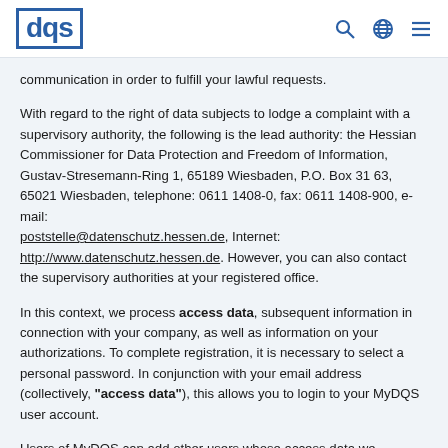dqs [logo with search, globe, and menu icons]
communication in order to fulfill your lawful requests.
With regard to the right of data subjects to lodge a complaint with a supervisory authority, the following is the lead authority: the Hessian Commissioner for Data Protection and Freedom of Information, Gustav-Stresemann-Ring 1, 65189 Wiesbaden, P.O. Box 31 63, 65021 Wiesbaden, telephone: 0611 1408-0, fax: 0611 1408-900, e-mail: poststelle@datenschutz.hessen.de, Internet: http://www.datenschutz.hessen.de. However, you can also contact the supervisory authorities at your registered office.
In this context, we process access data, subsequent information in connection with your company, as well as information on your authorizations. To complete registration, it is necessary to select a personal password. In conjunction with your email address (collectively, "access data"), this allows you to login to your MyDQS user account.
Users of MyDQS can add other users whose access data we subsequently process. When you are added by a user from within your organization, you will receive an email with an activation link that you can use to activate your user account. The link has a validity of 24 hours. If